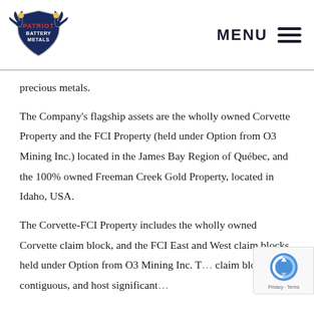[Figure (logo): Patriot Battery Metals logo with eagle wings and shield design]
precious metals.
The Company's flagship assets are the wholly owned Corvette Property and the FCI Property (held under Option from O3 Mining Inc.) located in the James Bay Region of Québec, and the 100% owned Freeman Creek Gold Property, located in Idaho, USA.
The Corvette-FCI Property includes the wholly owned Corvette claim block, and the FCI East and West claim blocks held under Option from O3 Mining Inc. T… claim blocks are contiguous, and host significant silver… PGE lithium… potential highlighted b…